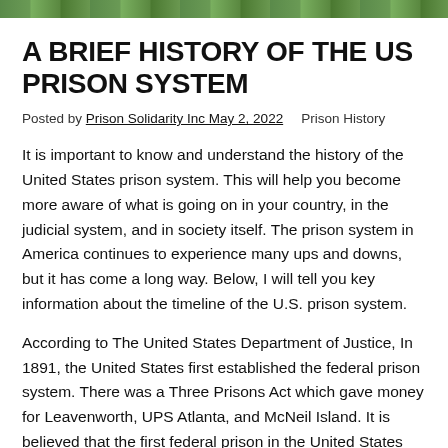[Figure (photo): Outdoor photo strip showing green sports court or field with fencing]
A BRIEF HISTORY OF THE US PRISON SYSTEM
Posted by Prison Solidarity Inc May 2, 2022    Prison History
It is important to know and understand the history of the United States prison system. This will help you become more aware of what is going on in your country, in the judicial system, and in society itself. The prison system in America continues to experience many ups and downs, but it has come a long way. Below, I will tell you key information about the timeline of the U.S. prison system.
According to The United States Department of Justice, In 1891, the United States first established the federal prison system. There was a Three Prisons Act which gave money for Leavenworth, UPS Atlanta, and McNeil Island. It is believed that the first federal prison in the United States was Leavenworth in the state of Kansas. This prison began holding inmates in 1906. Before the prison opened, inmates